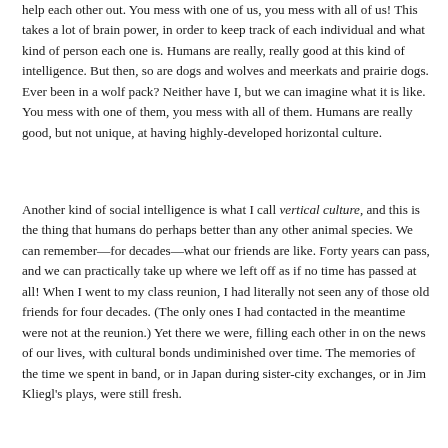help each other out. You mess with one of us, you mess with all of us! This takes a lot of brain power, in order to keep track of each individual and what kind of person each one is. Humans are really, really good at this kind of intelligence. But then, so are dogs and wolves and meerkats and prairie dogs. Ever been in a wolf pack? Neither have I, but we can imagine what it is like. You mess with one of them, you mess with all of them. Humans are really good, but not unique, at having highly-developed horizontal culture.
Another kind of social intelligence is what I call vertical culture, and this is the thing that humans do perhaps better than any other animal species. We can remember—for decades—what our friends are like. Forty years can pass, and we can practically take up where we left off as if no time has passed at all! When I went to my class reunion, I had literally not seen any of those old friends for four decades. (The only ones I had contacted in the meantime were not at the reunion.) Yet there we were, filling each other in on the news of our lives, with cultural bonds undiminished over time. The memories of the time we spent in band, or in Japan during sister-city exchanges, or in Jim Kliegl's plays, were still fresh.
Another kind of...